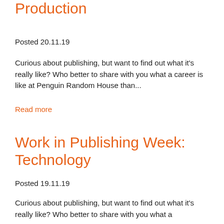Production
Posted 20.11.19
Curious about publishing, but want to find out what it's really like? Who better to share with you what a career is like at Penguin Random House than...
Read more
Work in Publishing Week: Technology
Posted 19.11.19
Curious about publishing, but want to find out what it's really like? Who better to share with you what a